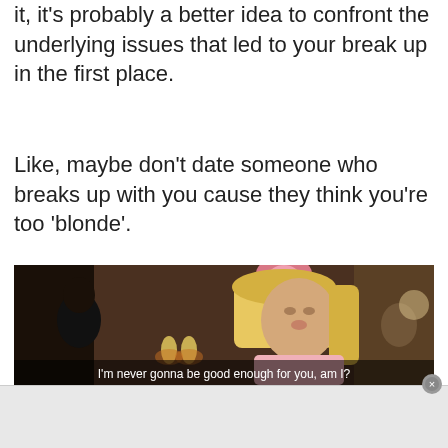it, it's probably a better idea to confront the underlying issues that led to your break up in the first place.
Like, maybe don't date someone who breaks up with you cause they think you're too 'blonde'.
[Figure (screenshot): Movie still from Legally Blonde showing a blonde woman in a pink bunny costume with subtitle: I'm never gonna be good enough for you, am I?]
"The findings suggest that people who find